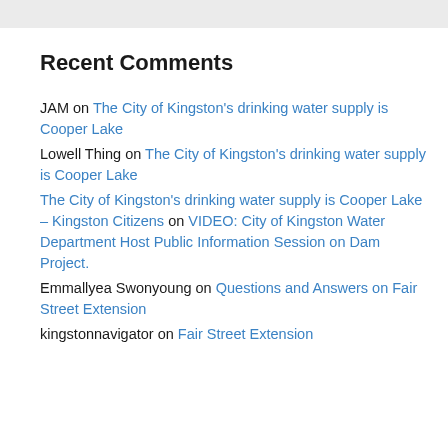Recent Comments
JAM on The City of Kingston’s drinking water supply is Cooper Lake
Lowell Thing on The City of Kingston’s drinking water supply is Cooper Lake
The City of Kingston’s drinking water supply is Cooper Lake – Kingston Citizens on VIDEO: City of Kingston Water Department Host Public Information Session on Dam Project.
Emmallyea Swonyoung on Questions and Answers on Fair Street Extension
kingstonnavigator on Fair Street Extension